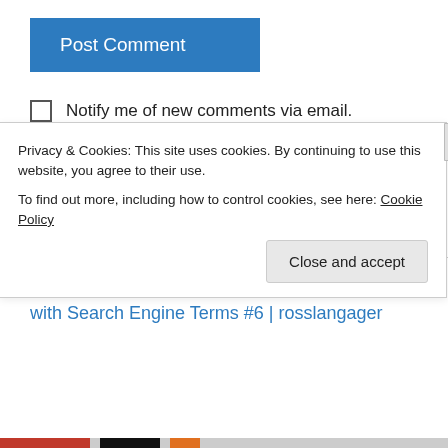[Figure (screenshot): Blue 'Post Comment' button]
Notify me of new comments via email.
Notify me of new posts via email.
This site uses Akismet to reduce spam. Learn how your comment data is processed.
Pingback: Good Old-Fashioned Wholesome Fun with Search Engine Terms #6 | rosslangager
Privacy & Cookies: This site uses cookies. By continuing to use this website, you agree to their use.
To find out more, including how to control cookies, see here: Cookie Policy